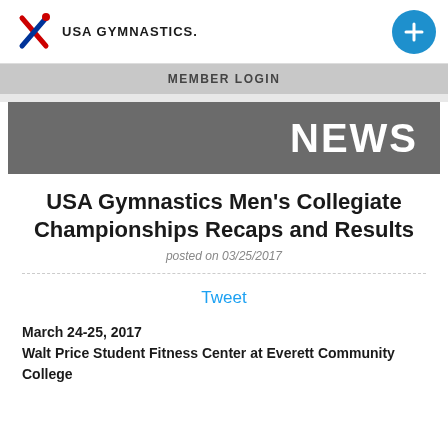USA GYMNASTICS.
MEMBER LOGIN
NEWS
USA Gymnastics Men's Collegiate Championships Recaps and Results
posted on 03/25/2017
Tweet
March 24-25, 2017
Walt Price Student Fitness Center at Everett Community College